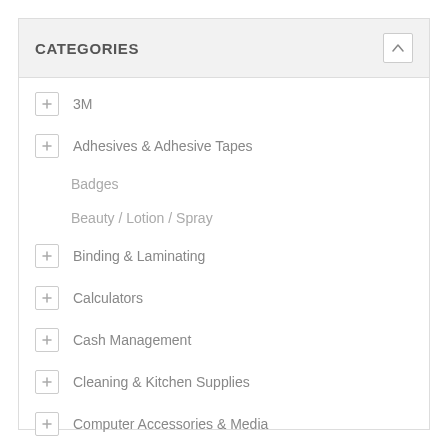CATEGORIES
3M
Adhesives & Adhesive Tapes
Badges
Beauty / Lotion / Spray
Binding & Laminating
Calculators
Cash Management
Cleaning & Kitchen Supplies
Computer Accessories & Media